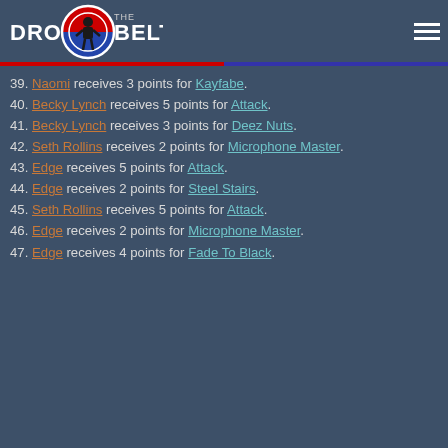Drop The Belt
39. Naomi receives 3 points for Kayfabe.
40. Becky Lynch receives 5 points for Attack.
41. Becky Lynch receives 3 points for Deez Nuts.
42. Seth Rollins receives 2 points for Microphone Master.
43. Edge receives 5 points for Attack.
44. Edge receives 2 points for Steel Stairs.
45. Seth Rollins receives 5 points for Attack.
46. Edge receives 2 points for Microphone Master.
47. Edge receives 4 points for Fade To Black.